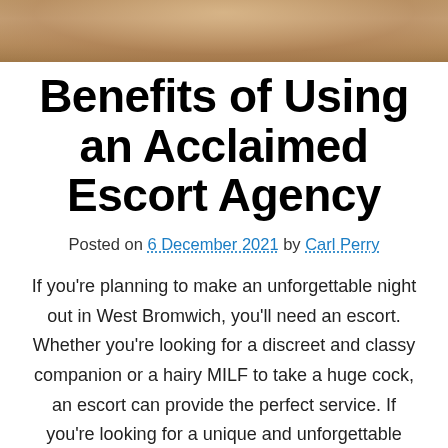[Figure (photo): Close-up photo strip showing skin/legs, cropped at top of page]
Benefits of Using an Acclaimed Escort Agency
Posted on 6 December 2021 by Carl Perry
If you're planning to make an unforgettable night out in West Bromwich, you'll need an escort. Whether you're looking for a discreet and classy companion or a hairy MILF to take a huge cock, an escort can provide the perfect service. If you're looking for a unique and unforgettable experience, a West Bromwich escort agency […]